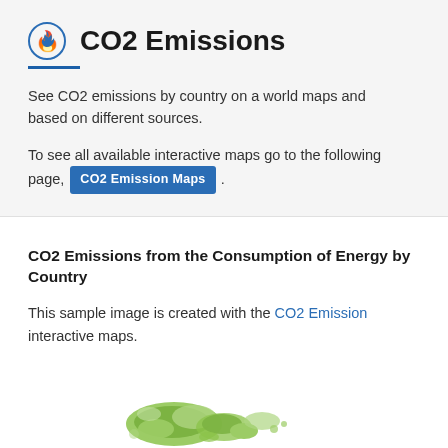CO2 Emissions
See CO2 emissions by country on a world maps and based on different sources.
To see all available interactive maps go to the following page, CO2 Emission Maps .
CO2 Emissions from the Consumption of Energy by Country
This sample image is created with the CO2 Emission interactive maps.
[Figure (map): Partial view of a world map showing CO2 emissions by country, green land masses visible at bottom of image]